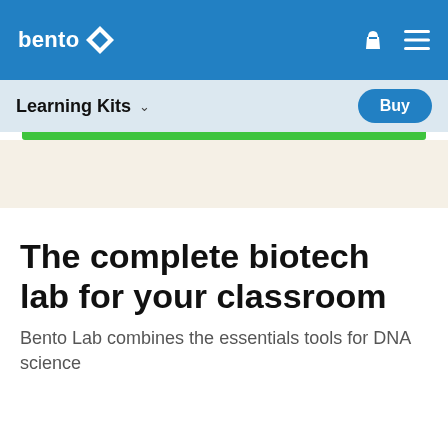bento
Learning Kits
The complete biotech lab for your classroom
Bento Lab combines the essentials tools for DNA science